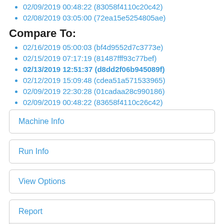02/09/2019 00:48:22 (83058f4110c20c42)
02/08/2019 03:05:00 (72ea15e5254805ae)
Compare To:
02/16/2019 05:00:03 (bf4d9552d7c3773e)
02/15/2019 07:17:19 (81487fff93c77bef)
02/13/2019 12:51:37 (d8dd2f06b945089f)
02/12/2019 15:09:48 (cdea51a571533965)
02/09/2019 22:30:28 (01cadaa28c990186)
02/09/2019 00:48:22 (83658f4110c26c42)
Machine Info
Run Info
View Options
Report
Filter
Benchmark name regex...